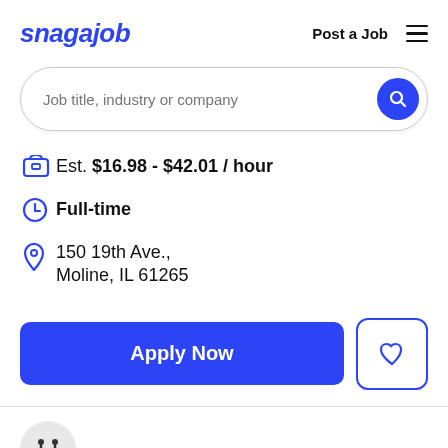snagajob | Post a Job
Job title, industry or company
Est. $16.98 - $42.01 / hour
Full-time
150 19th Ave., Moline, IL 61265
Apply Now